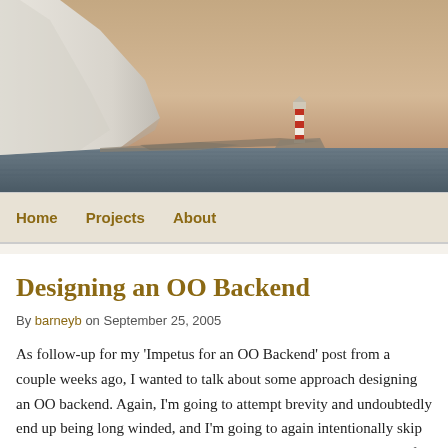[Figure (photo): Coastal landscape photograph showing white chalk cliffs on the left and a red-and-white striped lighthouse in the distance, with a calm sea in the foreground and a warm dusky sky.]
Home   Projects   About
Designing an OO Backend
By barneyb on September 25, 2005
As follow-up for my 'Impetus for an OO Backend' post from a couple weeks ago, I wanted to talk about some approach designing an OO backend. Again, I'm going to attempt brevity and undoubtedly end up being long winded, and I'm going to again intentionally skip implementation details. Finally, there will be almost no mention of UIs at all; I'm talking exclusively about the backend of an application. I/o